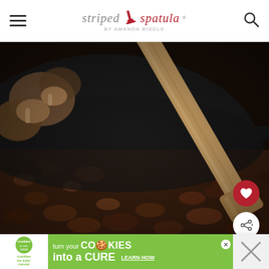striped spatula — by Amanda Biddle — navigation bar with hamburger menu and search icon
[Figure (photo): Close-up food photography of ground beef being cooked in a black cast iron skillet, with a wooden spatula stirring the meat. Mushrooms visible in a bowl in the upper background. Dark, moody lighting.]
[Figure (screenshot): What's Next callout showing a small thumbnail of Pearled Couscous dish with text 'WHAT'S NEXT → Pearled Couscous...']
[Figure (infographic): Advertisement banner: 'cookies for kids cancer — turn your COOKIES into a CURE LEARN HOW' on green background]